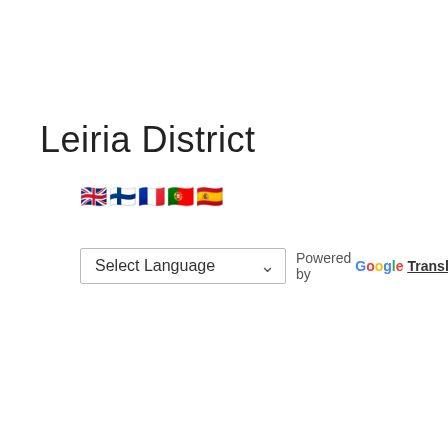Leiria District
[Figure (other): Row of five flag emoji icons: UK flag, Finnish flag, French flag, Portuguese flag, Spanish flag]
Select Language ∨  Powered by Google Translate